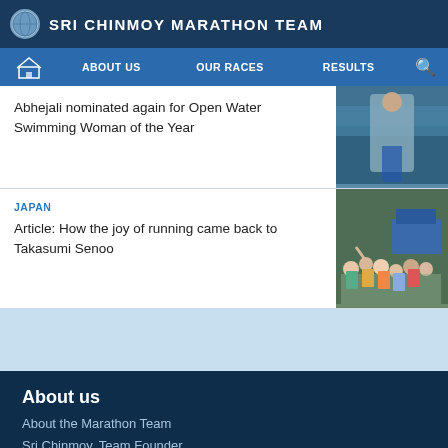SRI CHINMOY MARATHON TEAM
ABOUT US  OUR RACES  RESULTS
Abhejali nominated again for Open Water Swimming Woman of the Year
JAPAN
Article: How the joy of running came back to Takasumi Senoo
About us
About the Marathon Team
Sri Chinmoy, Team Founder
Our races
View all events
Results
Previous races